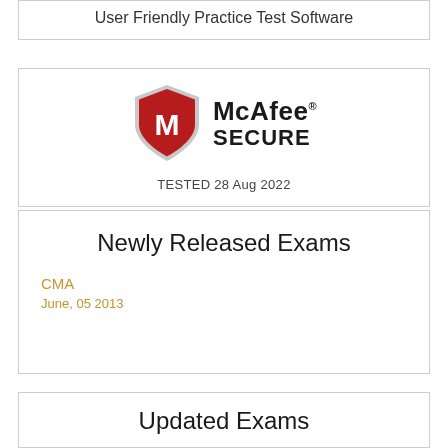User Friendly Practice Test Software
[Figure (logo): McAfee Secure logo with shield and text 'McAfee SECURE', tested 28 Aug 2022]
Newly Released Exams
CMA
June, 05 2013
Updated Exams